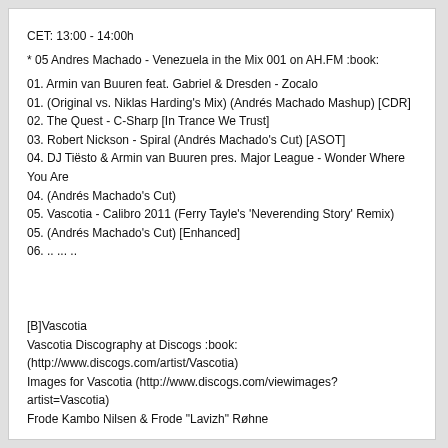CET: 13:00 - 14:00h
* 05 Andres Machado - Venezuela in the Mix 001 on AH.FM :book:
01. Armin van Buuren feat. Gabriel & Dresden - Zocalo
01. (Original vs. Niklas Harding's Mix) (Andrés Machado Mashup) [CDR]
02. The Quest - C-Sharp [In Trance We Trust]
03. Robert Nickson - Spiral (Andrés Machado's Cut) [ASOT]
04. DJ Tiësto & Armin van Buuren pres. Major League - Wonder Where You Are
04. (Andrés Machado's Cut)
05. Vascotia - Calibro 2011 (Ferry Tayle's 'Neverending Story' Remix)
05. (Andrés Machado's Cut) [Enhanced]
06. .. ... ..
[B]Vascotia
Vascotia Discography at Discogs :book:
(http://www.discogs.com/artist/Vascotia)
Images for Vascotia (http://www.discogs.com/viewimages?artist=Vascotia)
Frode Kambo Nilsen & Frode "Lavizh" Røhne
Members: Frode Kambo Nilsen
(http://www.discogs.com/artist/Frode+Kambo+Nilsen), Lavizh
(http://www.discogs.com/artist/Lavizh)